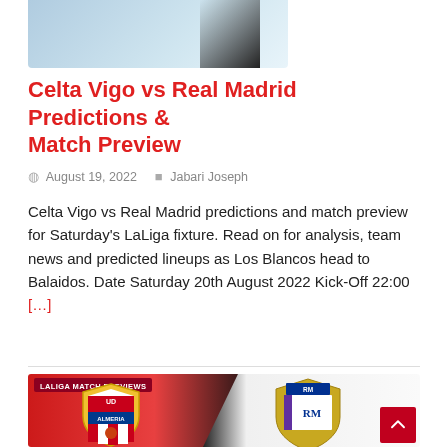[Figure (photo): Partial image at top, appears to be a phone/match preview image, partially visible]
Celta Vigo vs Real Madrid Predictions & Match Preview
August 19, 2022   Jabari Joseph
Celta Vigo vs Real Madrid predictions and match preview for Saturday's LaLiga fixture. Read on for analysis, team news and predicted lineups as Los Blancos head to Balaidos. Date Saturday 20th August 2022 Kick-Off 22:00 [...]
[Figure (illustration): LaLiga Match Previews card showing UD Almeria vs Real Madrid logos on a red and white diagonal split background]